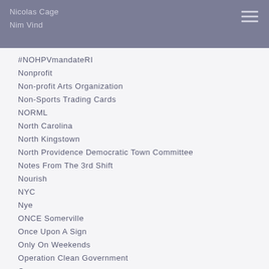Nicolas Cage
Nim Vind
#NOHPVmandateRI
Nonprofit
Non-profit Arts Organization
Non-Sports Trading Cards
NORML
North Carolina
North Kingstown
North Providence Democratic Town Committee
Notes From The 3rd Shift
Nourish
NYC
Nye
ONCE Somerville
Once Upon A Sign
Only On Weekends
Operation Clean Government
Orgy
Osaka Popstar
Our America Initiative